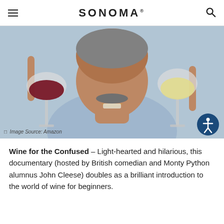SONOMA
[Figure (photo): Man smiling holding a glass of red wine in his left hand and a glass of white wine in his right hand, photo credit Amazon]
Image Source: Amazon
Wine for the Confused – Light-hearted and hilarious, this documentary (hosted by British comedian and Monty Python alumnus John Cleese) doubles as a brilliant introduction to the world of wine for beginners.